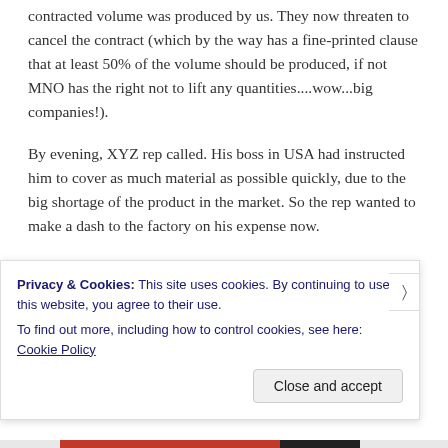contracted volume was produced by us. They now threaten to cancel the contract (which by the way has a fine-printed clause that at least 50% of the volume should be produced, if not MNO has the right not to lift any quantities....wow...big companies!).
By evening, XYZ rep called. His boss in USA had instructed him to cover as much material as possible quickly, due to the big shortage of the product in the market. So the rep wanted to make a dash to the factory on his expense now.
It was almost as if I made no effort in all these. Things change constantly. Some times to our advantage and
Privacy & Cookies: This site uses cookies. By continuing to use this website, you agree to their use.
To find out more, including how to control cookies, see here: Cookie Policy